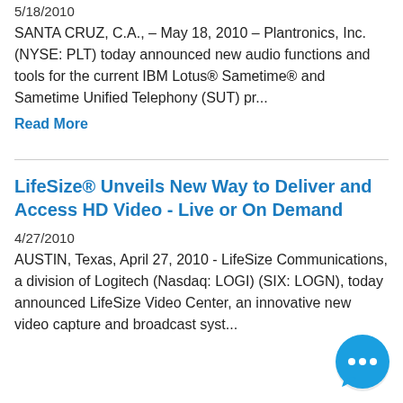5/18/2010
SANTA CRUZ, C.A., – May 18, 2010 – Plantronics, Inc. (NYSE: PLT) today announced new audio functions and tools for the current IBM Lotus® Sametime® and Sametime Unified Telephony (SUT) pr...
Read More
LifeSize® Unveils New Way to Deliver and Access HD Video - Live or On Demand
4/27/2010
AUSTIN, Texas, April 27, 2010 - LifeSize Communications, a division of Logitech (Nasdaq: LOGI) (SIX: LOGN), today announced LifeSize Video Center, an innovative new video capture and broadcast syst...
[Figure (illustration): Blue circular chat bubble icon with three dots, positioned bottom right corner]